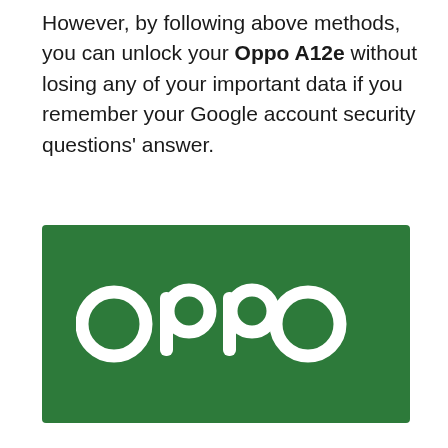However, by following above methods, you can unlock your Oppo A12e without losing any of your important data if you remember your Google account security questions' answer.
[Figure (logo): OPPO brand logo — white 'oppo' lowercase text on a dark green rectangular background]